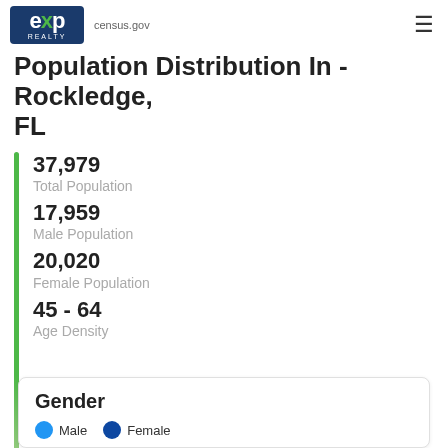eXp Realty | census.gov
Population Distribution In - Rockledge, FL
37,979
Total Population
17,959
Male Population
20,020
Female Population
45 - 64
Age Density
Gender
Male  Female